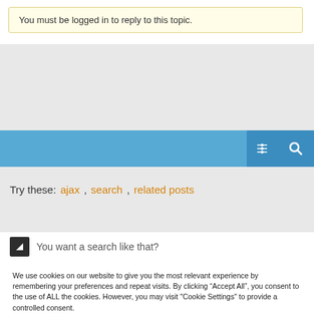You must be logged in to reply to this topic.
[Figure (screenshot): Blue search bar with settings and search icons on the right]
Try these:  ajax,  search,  related posts
You want a search like that?
We use cookies on our website to give you the most relevant experience by remembering your preferences and repeat visits. By clicking “Accept All”, you consent to the use of ALL the cookies. However, you may visit "Cookie Settings" to provide a controlled consent.
Cookie Settings  Accept All